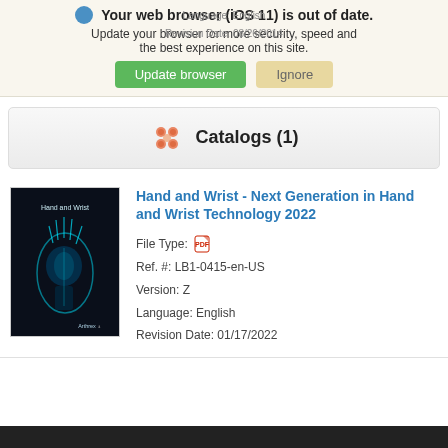Your web browser (iOS 11) is out of date. Update your browser for more security, speed and the best experience on this site.
Language: English
Revision Date: 08/26/2014
Catalogs (1)
[Figure (photo): Book cover of 'Hand and Wrist - Next Generation in Hand and Wrist Technology 2022' showing an X-ray-style blue teal image of a hand/wrist on a dark background, with Arthrex logo at bottom right.]
Hand and Wrist - Next Generation in Hand and Wrist Technology 2022
File Type: [PDF icon]
Ref. #: LB1-0415-en-US
Version: Z
Language: English
Revision Date: 01/17/2022